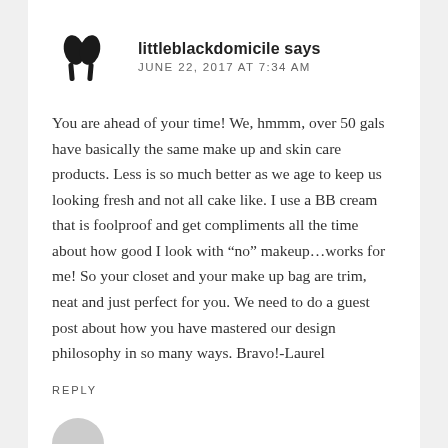[Figure (illustration): Black silhouette avatar icon showing two abstract leaf/person shapes]
littleblackdomicile says
JUNE 22, 2017 AT 7:34 AM
You are ahead of your time! We, hmmm, over 50 gals have basically the same make up and skin care products. Less is so much better as we age to keep us looking fresh and not all cake like. I use a BB cream that is foolproof and get compliments all the time about how good I look with “no” makeup…works for me! So your closet and your make up bag are trim, neat and just perfect for you. We need to do a guest post about how you have mastered our design philosophy in so many ways. Bravo!-Laurel
REPLY